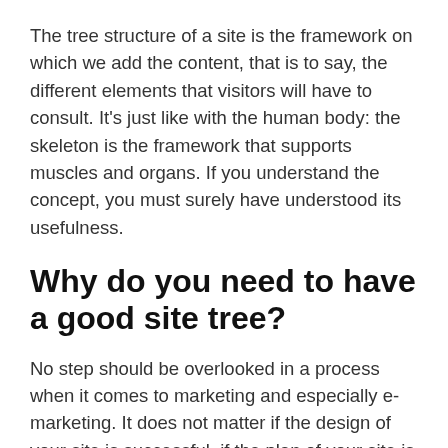The tree structure of a site is the framework on which we add the content, that is to say, the different elements that visitors will have to consult. It's just like with the human body: the skeleton is the framework that supports muscles and organs. If you understand the concept, you must surely have understood its usefulness.
Why do you need to have a good site tree?
No step should be overlooked in a process when it comes to marketing and especially e-marketing. It does not matter if the design of your site is successful, if the plan of your site is not thought out, it will be felt on your conversion rate. Indeed, making the structure of its site well makes it easier for your visitors to navigate and therefore to find the information they are looking for more